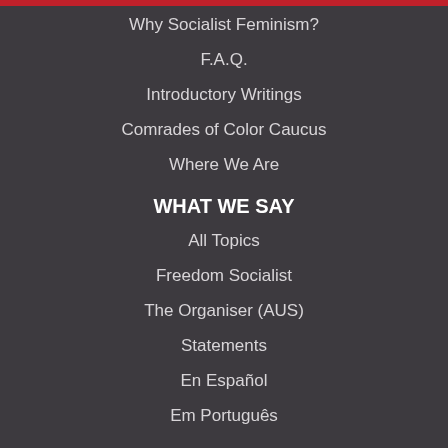Why Socialist Feminism?
F.A.Q.
Introductory Writings
Comrades of Color Caucus
Where We Are
WHAT WE SAY
All Topics
Freedom Socialist
The Organiser (AUS)
Statements
En Español
Em Português